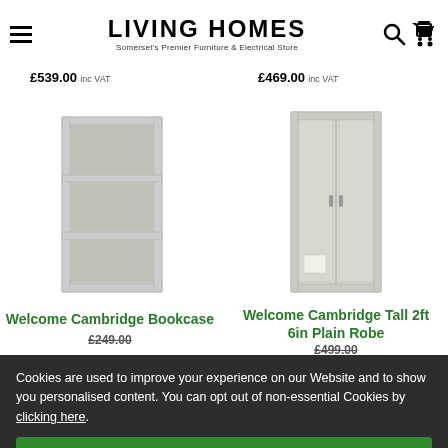LIVING HOMES — Somerset's Premier Furniture & Electrical Store
£539.00 inc VAT
£469.00 inc VAT
[Figure (photo): Welcome Cambridge Bookcase — white/cream open bookcase with 3 shelves]
Welcome Cambridge Bookcase
£249.00
[Figure (photo): Welcome Cambridge Tall 2ft 6in Plain Robe — white/cream double door wardrobe]
Welcome Cambridge Tall 2ft 6in Plain Robe
£499.00
Cookies are used to improve your experience on our Website and to show you personalised content. You can opt out of non-essential Cookies by clicking here.
Accept and close